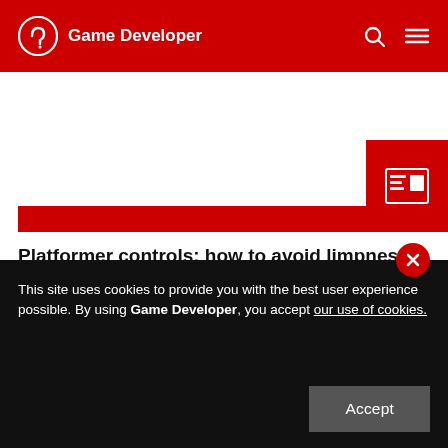Game Developer
[Figure (screenshot): Red banner with a newspaper/article icon on the right side]
Platformer controls: how to avoid limpness and rigidity feelings
Your platformer controls seem to have a lack of reactivity ? You feel like you're moving a concrete-made character or a feather on the Moon ? I hope this list o
January 03, 2014
This site uses cookies to provide you with the best user experience possible. By using Game Developer, you accept our use of cookies.